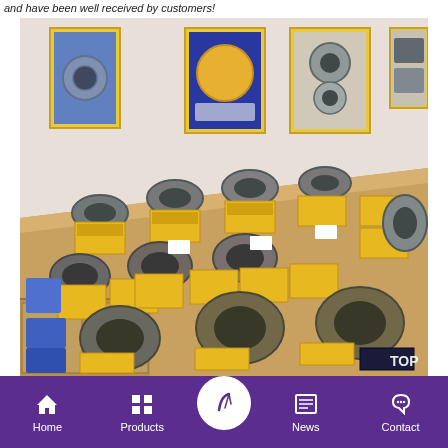and have been well received by customers!
[Figure (photo): Showroom display of industrial bearings arranged on a wooden counter with yellow branded boxes. Posters of bearing products hang on the white wall behind. Multiple rows of large metal bearings of various sizes are displayed alongside their packaging.]
Home   Products   [center button]   News   Contact